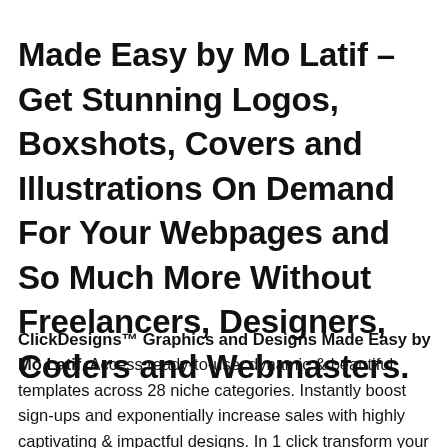Made Easy by Mo Latif – Get Stunning Logos, Boxshots, Covers and Illustrations On Demand For Your Webpages and So Much More Without Freelancers, Designers, Coders and Webmasters.
ClickDesigns™ Graphics and Designs Made Easy by Mo Latif. Access ready-to-use, dynamic & beautiful templates across 28 niche categories. Instantly boost sign-ups and exponentially increase sales with highly captivating & impactful designs. In 1 click transform your blogs, websites, sales funnels into powerful selling